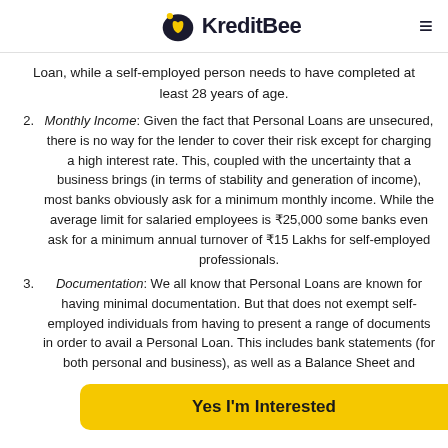KreditBee
Loan, while a self-employed person needs to have completed at least 28 years of age.
Monthly Income: Given the fact that Personal Loans are unsecured, there is no way for the lender to cover their risk except for charging a high interest rate. This, coupled with the uncertainty that a business brings (in terms of stability and generation of income), most banks obviously ask for a minimum monthly income. While the average limit for salaried employees is ₹25,000 some banks even ask for a minimum annual turnover of ₹15 Lakhs for self-employed professionals.
Documentation: We all know that Personal Loans are known for having minimal documentation. But that does not exempt self-employed individuals from having to present a range of documents in order to avail a Personal Loan. This includes bank statements (for both personal and business), as well as a Balance Sheet and
Yes I'm Interested